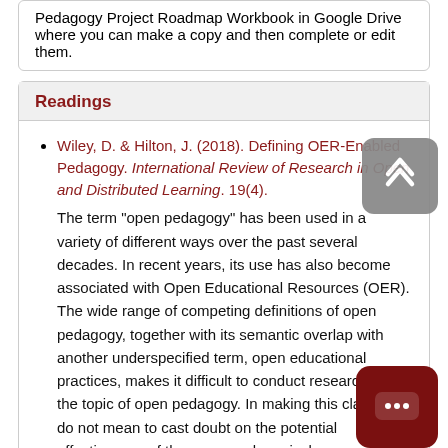Pedagogy Project Roadmap Workbook in Google Drive where you can make a copy and then complete or edit them.
Readings
Wiley, D. & Hilton, J. (2018). Defining OER-Enabled Pedagogy. International Review of Research in Open and Distributed Learning. 19(4).
The term "open pedagogy" has been used in a variety of different ways over the past several decades. In recent years, its use has also become associated with Open Educational Resources (OER). The wide range of competing definitions of open pedagogy, together with its semantic overlap with another underspecified term, open educational practices, makes it difficult to conduct research on the topic of open pedagogy. In making this claim we do not mean to cast doubt on the potential effectiveness of the many pedagogical approaches labeled open. In this article,